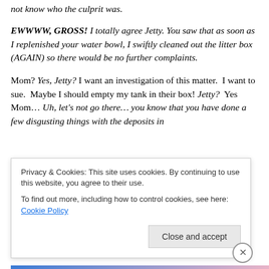not know who the culprit was.
EWWWW, GROSS! I totally agree Jetty. You saw that as soon as I replenished your water bowl, I swiftly cleaned out the litter box (AGAIN) so there would be no further complaints.
Mom? Yes, Jetty? I want an investigation of this matter. I want to sue. Maybe I should empty my tank in their box! Jetty? Yes Mom… Uh, let's not go there… you know that you have done a few disgusting things with the deposits in
Privacy & Cookies: This site uses cookies. By continuing to use this website, you agree to their use.
To find out more, including how to control cookies, see here: Cookie Policy